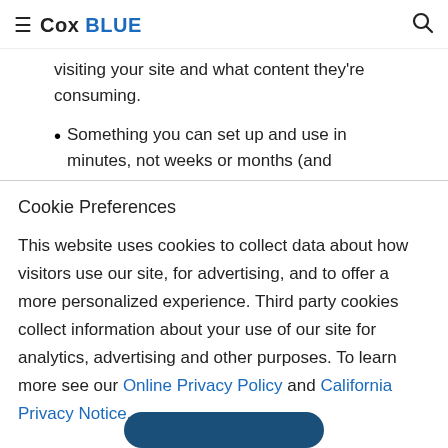≡ Cox BLUE 🔍
visiting your site and what content they're consuming.
Something you can set up and use in minutes, not weeks or months (and
Cookie Preferences
This website uses cookies to collect data about how visitors use our site, for advertising, and to offer a more personalized experience. Third party cookies collect information about your use of our site for analytics, advertising and other purposes. To learn more see our Online Privacy Policy and California Privacy Notice.